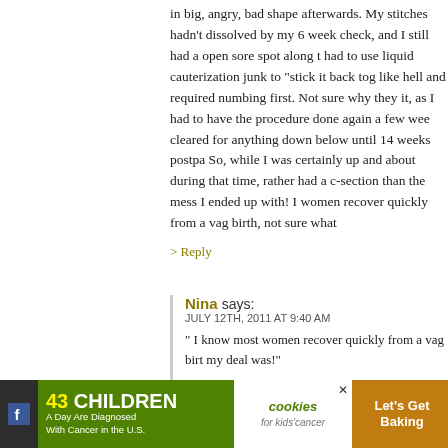in big, angry, bad shape afterwards. My stitches hadn't dissolved by my 6 week check, and I still had a open sore spot along the tear. had to use liquid cauterization junk to “stick it back together”, hurt like hell and required numbing first. Not sure why they didn’t just stitch it, as I had to have the procedure done again a few weeks later. Not cleared for anything down below until 14 weeks postpartum. So, while I was certainly up and about during that time, I would have rather had a c-section than the mess I ended up with! I know most women recover quickly from a vag birth, not sure what
> Reply
Nina says:
JULY 12TH, 2011 AT 9:40 AM
“ I know most women recover quickly from a vag birt... my deal was!”
Aieee, Jen, sorry to hear that you were so unlucky wi... pushing is done seems to make a difference to vag ou... who barell into the world fast often cause worse dam...